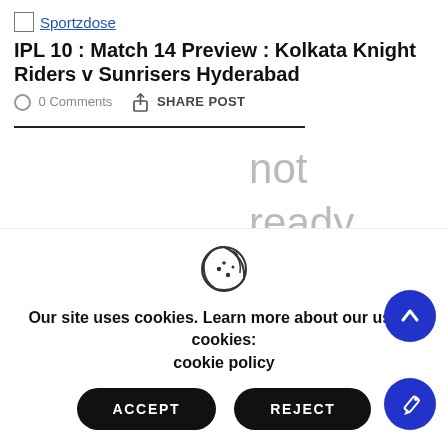Sportzdose
IPL 10 : Match 14 Preview : Kolkata Knight Riders v Sunrisers Hyderabad
0 Comments  SHARE POST
not ready to give up
Our site uses cookies. Learn more about our use of cookies: cookie policy
ACCEPT  REJECT